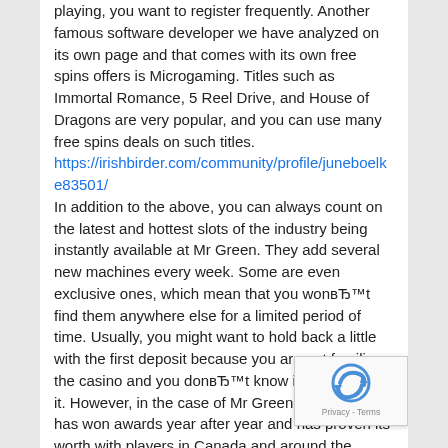playing, you want to register frequently. Another famous software developer we have analyzed on its own page and that comes with its own free spins offers is Microgaming. Titles such as Immortal Romance, 5 Reel Drive, and House of Dragons are very popular, and you can use many free spins deals on such titles.
https://irishbirder.com/community/profile/juneboelke83501/
In addition to the above, you can always count on the latest and hottest slots of the industry being instantly available at Mr Green. They add several new machines every week. Some are even exclusive ones, which mean that you wonвЂ™t find them anywhere else for a limited period of time. Usually, you might want to hold back a little with the first deposit because you are not familiar the casino and you donвЂ™t know if you will like it. However, in the case of Mr Green, this casino has won awards year after year and has proven its worth with players in Canada and around the world. YouвЂ™ll be going into one of the best online casinos at Mr Green, so rest assured and
[Figure (other): reCAPTCHA badge with logo and Privacy - Terms text]